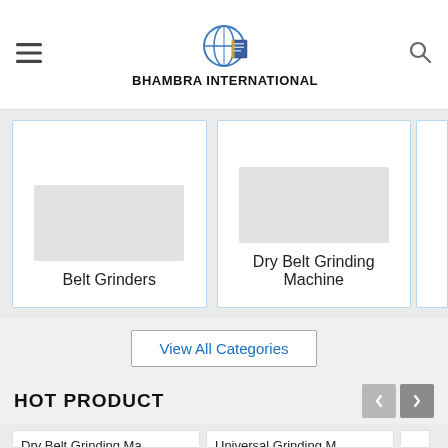BHAMBRA INTERNATIONAL
Belt Grinders
Dry Belt Grinding Machine
View All Categories
HOT PRODUCT
Dry Belt Grinding Ma
Universal Grinding M